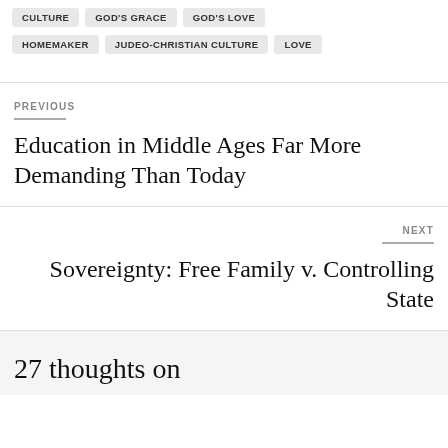CULTURE
GOD'S GRACE
GOD'S LOVE
HOMEMAKER
JUDEO-CHRISTIAN CULTURE
LOVE
PREVIOUS
Education in Middle Ages Far More Demanding Than Today
NEXT
Sovereignty: Free Family v. Controlling State
27 thoughts on